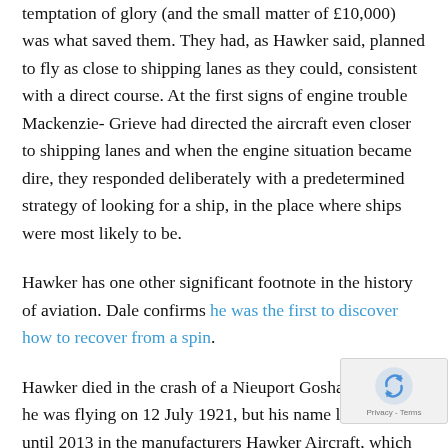temptation of glory (and the small matter of £10,000) was what saved them. They had, as Hawker said, planned to fly as close to shipping lanes as they could, consistent with a direct course. At the first signs of engine trouble Mackenzie-Grieve had directed the aircraft even closer to shipping lanes and when the engine situation became dire, they responded deliberately with a predetermined strategy of looking for a ship, in the place where ships were most likely to be.
Hawker has one other significant footnote in the history of aviation. Dale confirms he was the first to discover how to recover from a spin.
Hawker died in the crash of a Nieuport Goshawk biplane he was flying on 12 July 1921, but his name lived on until 2013 in the manufacturers Hawker Aircraft, which became H— Siddeley, and in Hawker de Havilland Australia and in— merger that created Hawker Beechcraft. Since then, Hawker